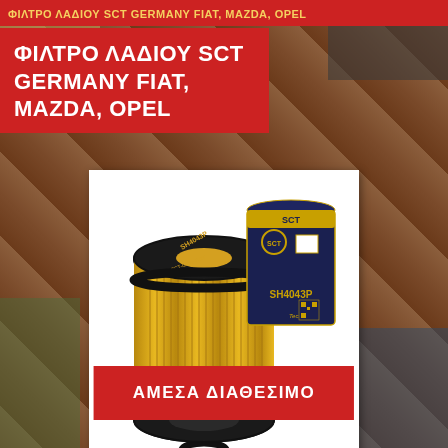ΦΙΛΤΡΟ ΛΑΔΙΟΥ SCT GERMANY FIAT, MAZDA, OPEL
ΦΙΛΤΡΟ ΛΑΔΙΟΥ SCT GERMANY FIAT, MAZDA, OPEL
[Figure (photo): SCT Germany SH4043P oil filter element (cylindrical yellow paper filter with black rubber O-rings) displayed next to its dark blue product box branded SH4043P and TecDoc, on white background]
ΑΜΕΣΑ ΔΙΑΘΕΣΙΜΟ